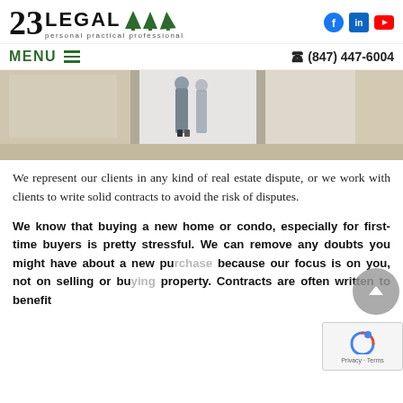[Figure (logo): 23 Legal logo with tree icons and tagline 'personal practical professional']
[Figure (infographic): Social media icons: Facebook, LinkedIn, YouTube]
MENU (hamburger icon)
(847) 447-6004
[Figure (photo): Interior photo of a bright empty room with hardwood floors, person visible in background]
We represent our clients in any kind of real estate dispute, or we work with clients to write solid contracts to avoid the risk of disputes.
We know that buying a new home or condo, especially for first-time buyers is pretty stressful. We can remove any doubts you might have about a new pu... because our focus is on you, not on selling or bu... property. Contracts are often written to benefit